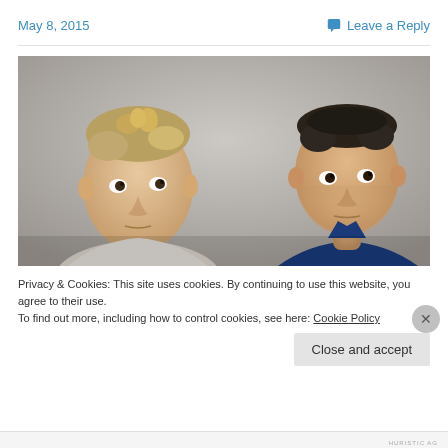May 8, 2015
Leave a Reply
[Figure (photo): Two young men photographed against a grey background. The man on the left has light brown messy hair and wears a light grey top, looking upward. The man on the right has short dark hair and wears a dark blue top, looking slightly to the side.]
Privacy & Cookies: This site uses cookies. By continuing to use this website, you agree to their use.
To find out more, including how to control cookies, see here: Cookie Policy
Close and accept